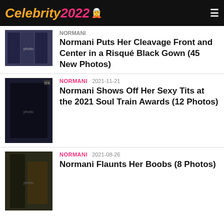Celebrity 2022
NORMANI
Normani Puts Her Cleavage Front and Center in a Risqué Black Gown (45 New Photos)
NORMANI  2021-11-21
Normani Shows Off Her Sexy Tits at the 2021 Soul Train Awards (12 Photos)
NORMANI  2021-08-26
Normani Flaunts Her Boobs (8 Photos)